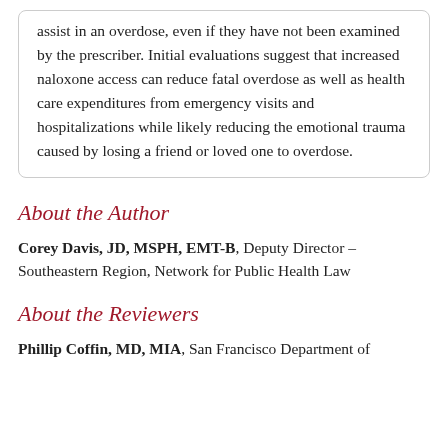assist in an overdose, even if they have not been examined by the prescriber. Initial evaluations suggest that increased naloxone access can reduce fatal overdose as well as health care expenditures from emergency visits and hospitalizations while likely reducing the emotional trauma caused by losing a friend or loved one to overdose.
About the Author
Corey Davis, JD, MSPH, EMT-B, Deputy Director – Southeastern Region, Network for Public Health Law
About the Reviewers
Phillip Coffin, MD, MIA, San Francisco Department of